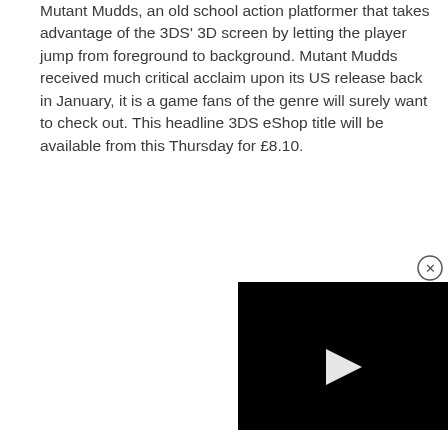Mutant Mudds, an old school action platformer that takes advantage of the 3DS' 3D screen by letting the player jump from foreground to background. Mutant Mudds received much critical acclaim upon its US release back in January, it is a game fans of the genre will surely want to check out. This headline 3DS eShop title will be available from this Thursday for £8.10.
[Figure (screenshot): Video player with black background and white play button triangle in center, with a circular close (X) button in the top-right corner]